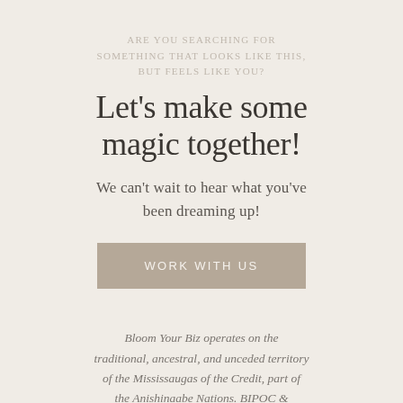ARE YOU SEARCHING FOR SOMETHING THAT LOOKS LIKE THIS, BUT FEELS LIKE YOU?
Let's make some magic together!
We can't wait to hear what you've been dreaming up!
WORK WITH US
Bloom Your Biz operates on the traditional, ancestral, and unceded territory of the Mississaugas of the Credit, part of the Anishinaabe Nations. BIPOC & LGBTQ+ affirming. All folks are welcomed and celebrated here.